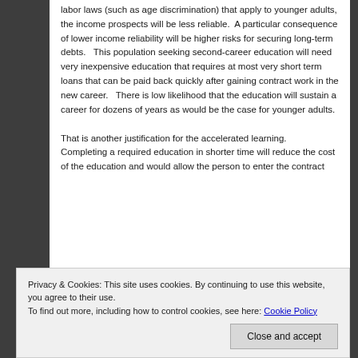labor laws (such as age discrimination) that apply to younger adults, the income prospects will be less reliable.  A particular consequence of lower income reliability will be higher risks for securing long-term debts.   This population seeking second-career education will need very inexpensive education that requires at most very short term loans that can be paid back quickly after gaining contract work in the new career.   There is low likelihood that the education will sustain a career for dozens of years as would be the case for younger adults.

That is another justification for the accelerated learning.   Completing a required education in shorter time will reduce the cost of the education and would allow the person to enter the contract
Privacy & Cookies: This site uses cookies. By continuing to use this website, you agree to their use.
To find out more, including how to control cookies, see here: Cookie Policy
Close and accept